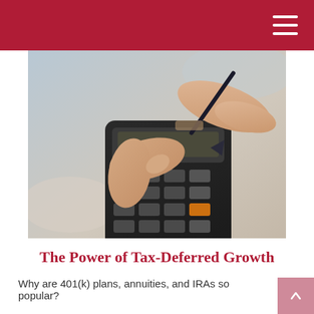[Figure (photo): Close-up photo of two hands using a calculator — one hand pressing buttons with a finger, the other holding a pen. The calculator has a dark body with a numeric keypad including an orange equals button. Background is softly blurred light blue/grey.]
The Power of Tax-Deferred Growth
Why are 401(k) plans, annuities, and IRAs so popular?